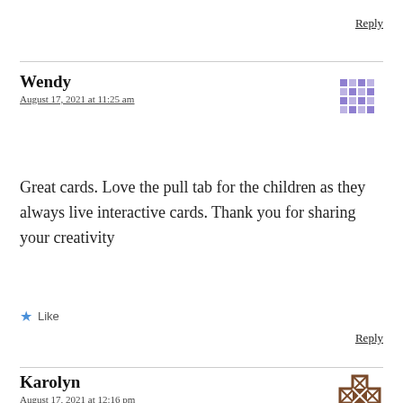Reply
Wendy
August 17, 2021 at 11:25 am
Great cards. Love the pull tab for the children as they always live interactive cards. Thank you for sharing your creativity
Like
Reply
Karolyn
August 17, 2021 at 12:16 pm